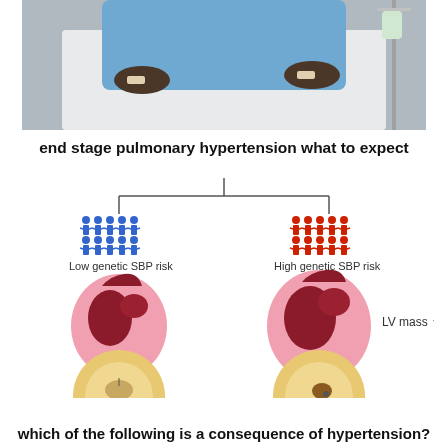[Figure (photo): A patient lying in a hospital bed wearing blue gown, with an IV drip visible in the background. Upper portion of image cropped.]
end stage pulmonary hypertension what to expect
[Figure (infographic): Medical infographic comparing Low genetic SBP risk (blue human figures) vs High genetic SBP risk (red human figures), connected by a branching tree at top. Below each group are two heart illustrations: left heart appears normal, right heart shows increased LV mass (labeled 'LV mass ↑'). At the bottom are two cross-sectional heart images partially visible.]
which of the following is a consequence of hypertension?